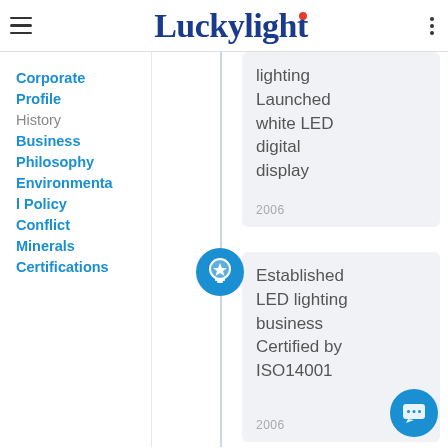Luckylight
Corporate Profile
History
Business Philosophy
Environmental Policy
Conflict Minerals
Certifications
lighting Launched white LED digital display
2006
Established LED lighting business Certified by ISO14001
2006